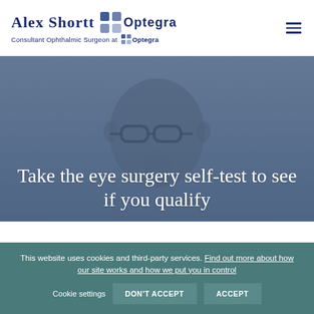Alex Shortt — Consultant Ophthalmic Surgeon at Optegra
[Figure (photo): Blurred/darkened background photo of a person (bald individual wearing glasses) with a blue-gray overlay tint, used as a hero image background]
Take the eye surgery self-test to see if you qualify
This website uses cookies and third-party services. Find out more about how our site works and how we put you in control   Cookie settings   DON'T ACCEPT   ACCEPT